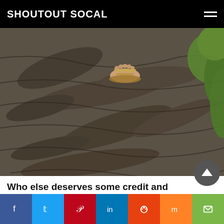SHOUTOUT SOCAL
[Figure (photo): Close-up photo of a person's foot wearing a strappy sandal, resting on the textured bark of a large tree. Green foliage is visible in the background on the right.]
Who else deserves some credit and recognition?
It truly takes a village to help others along the crazy beautiful journey of life. None of us reach our destinations without support from others. There are so many people who have played a part in my life but as stated before, a huge part